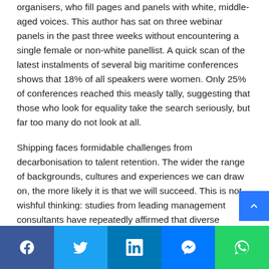organisers, who fill pages and panels with white, middle-aged voices. This author has sat on three webinar panels in the past three weeks without encountering a single female or non-white panellist. A quick scan of the latest instalments of several big maritime conferences shows that 18% of all speakers were women. Only 25% of conferences reached this measly tally, suggesting that those who look for equality take the search seriously, but far too many do not look at all.
Shipping faces formidable challenges from decarbonisation to talent retention. The wider the range of backgrounds, cultures and experiences we can draw on, the more likely it is that we will succeed. This is not wishful thinking: studies from leading management consultants have repeatedly affirmed that diverse businesses are m... [continues]
[Figure (other): Social media sharing bar at the bottom of the page with Facebook (blue), Twitter (light blue), LinkedIn (dark blue), Messenger (blue), and WhatsApp (green) buttons. A scroll-up button (blue with up arrow) appears above the bar on the right.]